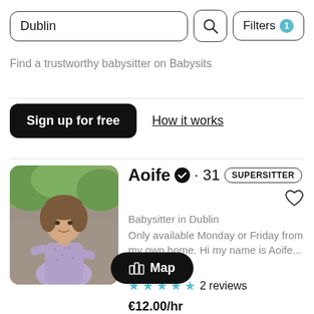Dublin
Find a trustworthy babysitter on Babysits
Sign up for free
How it works
[Figure (photo): Profile photo of Aoife, a babysitter in Dublin]
Aoife · 31 SUPERSITTER
Babysitter in Dublin
Only available Monday or Friday from my own home. Hi my name is Aoife...
Bo...
2 reviews
€12.00/hr
Map